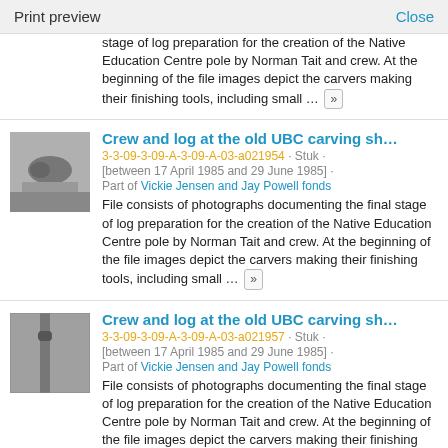Print preview   Close
stage of log preparation for the creation of the Native Education Centre pole by Norman Tait and crew. At the beginning of the file images depict the carvers making their finishing tools, including small ... »
Crew and log at the old UBC carving sh...
3-3-09-3-09-A-3-09-A-03-a021954 · Stuk · [between 17 April 1985 and 29 June 1985] · Part of Vickie Jensen and Jay Powell fonds
File consists of photographs documenting the final stage of log preparation for the creation of the Native Education Centre pole by Norman Tait and crew. At the beginning of the file images depict the carvers making their finishing tools, including small ... »
Crew and log at the old UBC carving sh...
3-3-09-3-09-A-3-09-A-03-a021957 · Stuk · [between 17 April 1985 and 29 June 1985] · Part of Vickie Jensen and Jay Powell fonds
File consists of photographs documenting the final stage of log preparation for the creation of the Native Education Centre pole by Norman Tait and crew. At the beginning of the file images depict the carvers making their finishing tools, including small ...